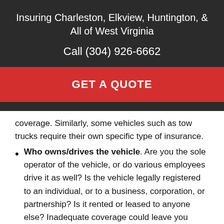Insuring Charleston, Elkview, Huntington, & All of West Virginia
Call (304) 926-6662
GET A QUOTE
coverage. Similarly, some vehicles such as tow trucks require their own specific type of insurance.
Who owns/drives the vehicle. Are you the sole operator of the vehicle, or do various employees drive it as well? Is the vehicle legally registered to an individual, or to a business, corporation, or partnership? Is it rented or leased to anyone else? Inadequate coverage could leave you liable for someone else's driving mistakes.